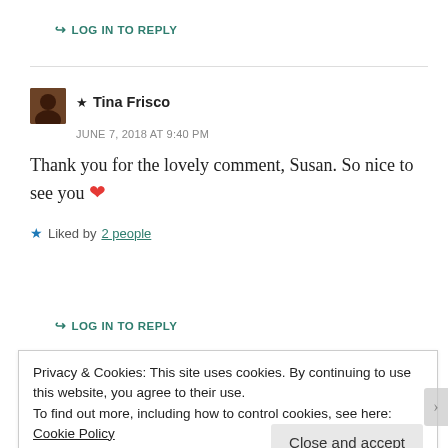↪ LOG IN TO REPLY
★ Tina Frisco
JUNE 7, 2018 AT 9:40 PM
Thank you for the lovely comment, Susan. So nice to see you ❤
★ Liked by 2 people
↪ LOG IN TO REPLY
Privacy & Cookies: This site uses cookies. By continuing to use this website, you agree to their use.
To find out more, including how to control cookies, see here: Cookie Policy
Close and accept